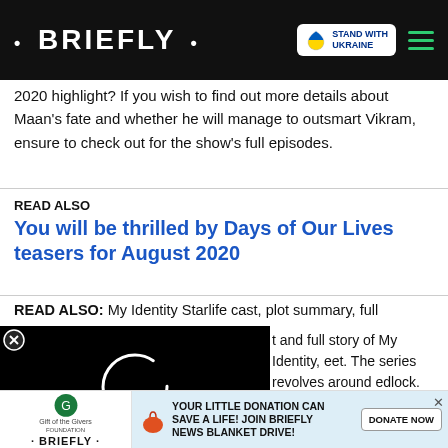• BRIEFLY •
2020 highlight? If you wish to find out more details about Maan's fate and whether he will manage to outsmart Vikram, ensure to check out for the show's full episodes.
READ ALSO
You will be thrilled by Days of Our Lives teasers for August 2020
READ ALSO: My Identity Starlife cast, plot summary, full
[Figure (screenshot): Video player overlay showing black screen with loading spinner circle on dark background, with a red chevron/down button]
t and full story of My Identity, eet. The series revolves around edlock. Although she is
[Figure (infographic): Ad banner: Gift of the Givers / Briefly logo on left, text 'YOUR LITTLE DONATION CAN SAVE A LIFE! JOIN BRIEFLY NEWS BLANKET DRIVE!' with DONATE NOW button on right]